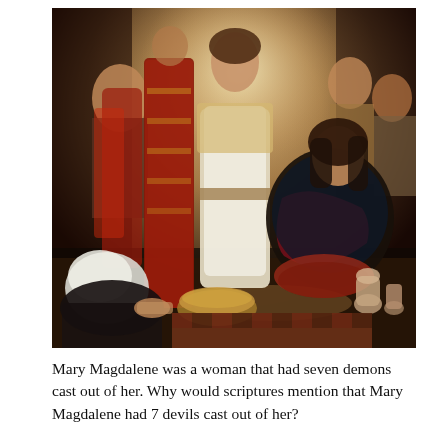[Figure (illustration): A religious painting depicting a group of people gathered around a central standing figure in white robes (Jesus), with several other figures including women and men in traditional Middle Eastern attire. A woman with dark hair sits on the right looking up at the central figure. An older woman with a white head covering sits on the left in the foreground. Others kneel or sit around a wicker basket on the ground.]
Mary Magdalene was a woman that had seven demons cast out of her. Why would scriptures mention that Mary Magdalene had 7 devils cast out of her?